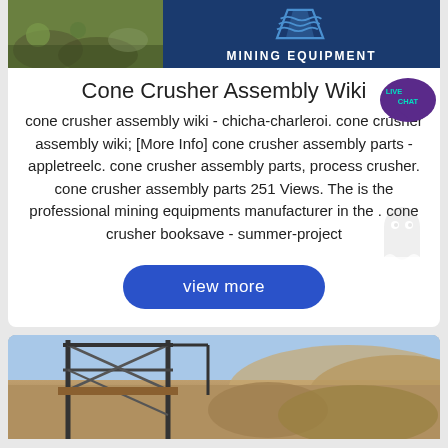[Figure (photo): Mining equipment company banner with photo on left and logo/text 'MINING EQUIPMENT' on blue background on right]
Cone Crusher Assembly Wiki
cone crusher assembly wiki - chicha-charleroi. cone crusher assembly wiki; [More Info] cone crusher assembly parts - appletreelc. cone crusher assembly parts, process crusher. cone crusher assembly parts 251 Views. The is the professional mining equipments manufacturer in the . cone crusher booksave - summer-project
[Figure (photo): Construction site with metal scaffolding/frame structure and rocky terrain in background under blue sky]